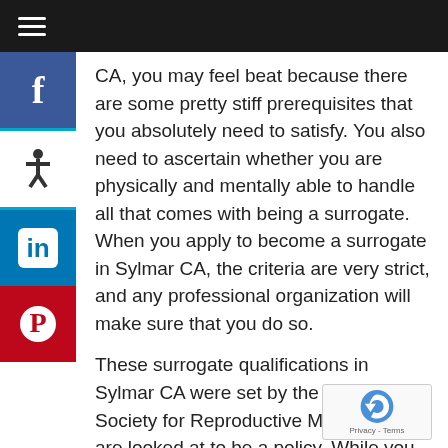Navigation bar with hamburger menu
CA, you may feel beat because there are some pretty stiff prerequisites that you absolutely need to satisfy. You also need to ascertain whether you are physically and mentally able to handle all that comes with being a surrogate. When you apply to become a surrogate in Sylmar CA, the criteria are very strict, and any professional organization will make sure that you do so.
These surrogate qualifications in Sylmar CA were set by the American Society for Reproductive Medicine and are looked at to be a policy. While you may not meet all of these requirements, you might fulfill some of them and can work toward fulfilling the others– sometimes, an agency will aid you get there.
These common surrogate qualifications in Sylmar CA are as follows:
You must have formerly had at least one fruitful